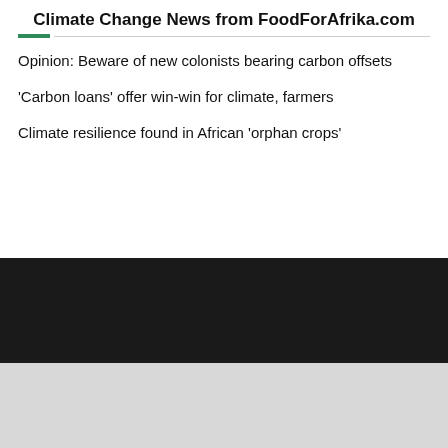Climate Change News from FoodForAfrika.com
Opinion: Beware of new colonists bearing carbon offsets
'Carbon loans' offer win-win for climate, farmers
Climate resilience found in African 'orphan crops'
[Figure (other): Dark footer band (near black background)]
[Figure (other): Light grey footer band at bottom]